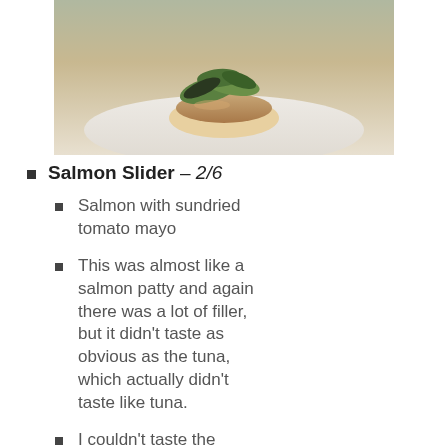[Figure (photo): Photo of a salmon slider on a white plate with greens on top, partially visible at the top of the page]
Salmon Slider – 2/6
Salmon with sundried tomato mayo
This was almost like a salmon patty and again there was a lot of filler, but it didn't taste as obvious as the tuna, which actually didn't taste like tuna.
I couldn't taste the sundried tomato sauce so it was a bit bland and